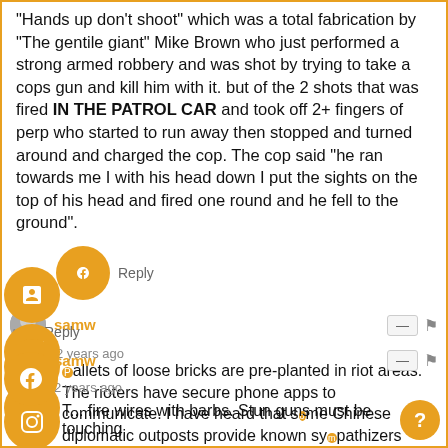"Hands up don't shoot" which was a total fabrication by "The gentile giant" Mike Brown who just performed a strong armed robbery and was shot by trying to take a cops gun and kill him with it. but of the 2 shots that was fired IN THE PATROL CAR and took off 2+ fingers of perp who started to run away then stopped and turned around and charged the cop. The cop said "he ran towards me I with his head down I put the sights on the top of his head and fired one round and he fell to the ground".
[Figure (logo): Facebook logo circle icon in orange]
Reply
samw
2 years ago
Pallets of loose bricks are pre-planted in riot areas. The rioters have secure phone apps to communicate. I have heard that some Chinese diplomatic outposts provide known sympathizers weapons.
[Figure (logo): Twitter logo circle icon in orange]
[Figure (logo): YouTube logo circle icon in orange]
Reply
samw
2 years ago
[Figure (logo): Instagram logo circle icon in orange]
T... fire wires with barbs. Stun guns must be touching
[Figure (logo): Second Instagram-style logo circle icon in orange]
[Figure (logo): Help/question mark button circle in orange]